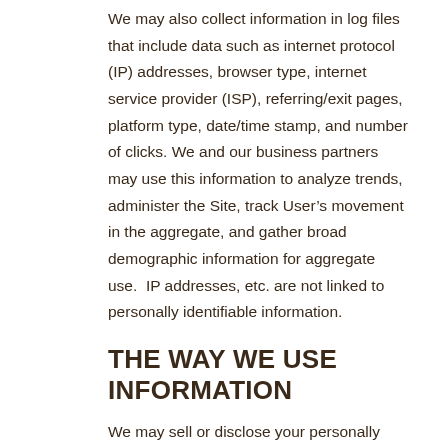We may also collect information in log files that include data such as internet protocol (IP) addresses, browser type, internet service provider (ISP), referring/exit pages, platform type, date/time stamp, and number of clicks. We and our business partners may use this information to analyze trends, administer the Site, track User's movement in the aggregate, and gather broad demographic information for aggregate use.  IP addresses, etc. are not linked to personally identifiable information.
THE WAY WE USE INFORMATION
We may sell or disclose your personally identifiable information to third parties for direct marketing purposes without providing you an opportunity to opt out or otherwise prohibit such use.  Red Mango